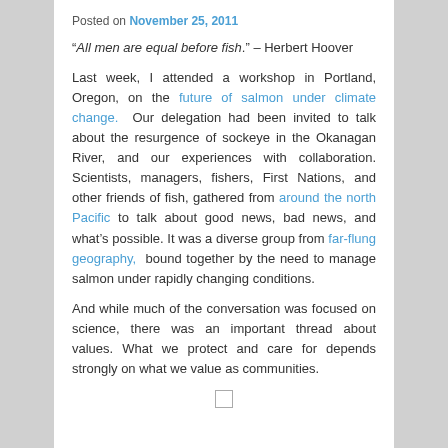Posted on November 25, 2011
“All men are equal before fish.” – Herbert Hoover
Last week, I attended a workshop in Portland, Oregon, on the future of salmon under climate change. Our delegation had been invited to talk about the resurgence of sockeye in the Okanagan River, and our experiences with collaboration. Scientists, managers, fishers, First Nations, and other friends of fish, gathered from around the north Pacific to talk about good news, bad news, and what’s possible. It was a diverse group from far-flung geography, bound together by the need to manage salmon under rapidly changing conditions.
And while much of the conversation was focused on science, there was an important thread about values. What we protect and care for depends strongly on what we value as communities.